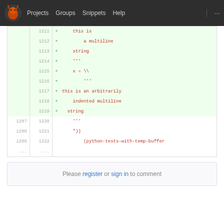Projects  Groups  Snippets  Help
[Figure (screenshot): Code diff viewer showing added lines 1211-1219 in green background with + markers, and normal lines 1207-1209/1220-1222 below, containing Python multiline string code]
Please register or sign in to comment